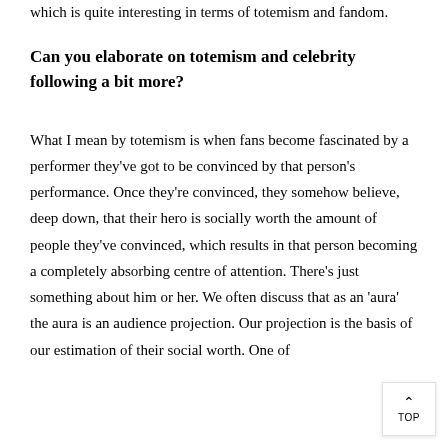which is quite interesting in terms of totemism and fandom.
Can you elaborate on totemism and celebrity following a bit more?
What I mean by totemism is when fans become fascinated by a performer they've got to be convinced by that person's performance. Once they're convinced, they somehow believe, deep down, that their hero is socially worth the amount of people they've convinced, which results in that person becoming a completely absorbing centre of attention. There's just something about him or her. We often discuss that as an 'aura' the aura is an audience projection. Our projection is the basis of our estimation of their social worth. One of